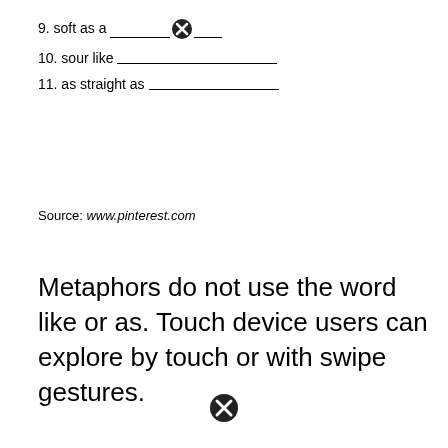9. soft as a ___________❌___
10. sour like ________________
11. as straight as ________________
Source: www.pinterest.com
Metaphors do not use the word like or as. Touch device users can explore by touch or with swipe gestures.